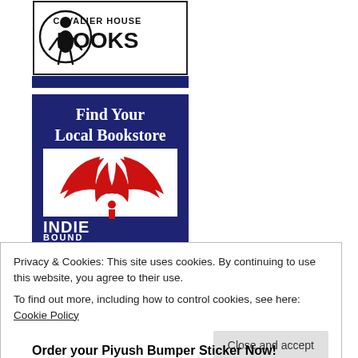[Figure (logo): Cavalier House Books logo - person silhouette in circle with text CAVALIER HOUSE BOOKS, dark blue bar at bottom]
[Figure (illustration): IndieBound banner - dark navy blue background with 'Find Your Local Bookstore' text at top, red sketchy bird/wing logo, INDIE BOUND text at bottom]
Privacy & Cookies: This site uses cookies. By continuing to use this website, you agree to their use.
To find out more, including how to control cookies, see here: Cookie Policy
Close and accept
Order your Piyush Bumper Sticker Now!